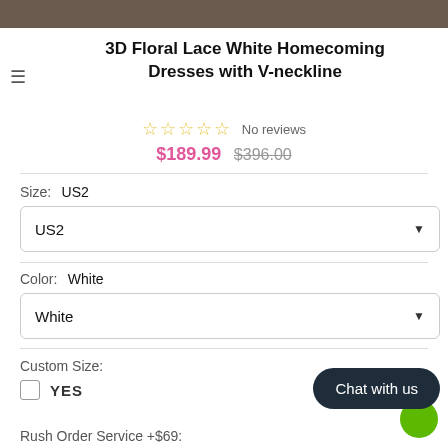[Figure (photo): Top strip showing bottom portion of a product photo (dress on model, dark background)]
3D Floral Lace White Homecoming Dresses with V-neckline
☆☆☆☆☆ No reviews
$189.99  $396.00
Size:  US2
US2 (dropdown)
Color:  White
White (dropdown)
Custom Size:
YES
Rush Order Service +$69: